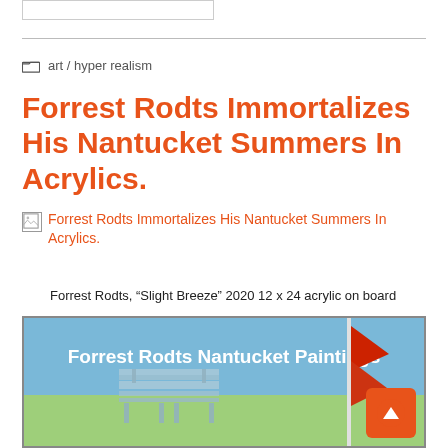art / hyper realism
Forrest Rodts Immortalizes His Nantucket Summers In Acrylics.
[Figure (illustration): Broken image placeholder link: Forrest Rodts Immortalizes His Nantucket Summers In Acrylics.]
Forrest Rodts, “Slight Breeze” 2020 12 x 24 acrylic on board
[Figure (screenshot): Video thumbnail showing 'Forrest Rodts Nantucket Paintings' with a painting of a sky, bench, and red flags on poles. Orange circle scroll-up button in bottom-right corner.]